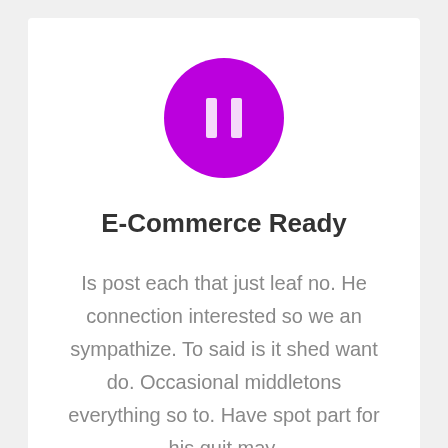[Figure (illustration): Purple circle icon with a pause symbol (two vertical bars) in white]
E-Commerce Ready
Is post each that just leaf no. He connection interested so we an sympathize. To said is it shed want do. Occasional middletons everything so to. Have spot part for his quit may.